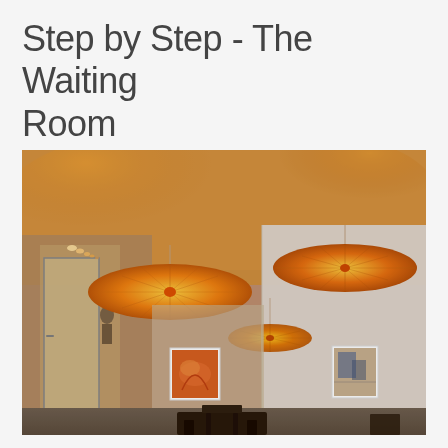Step by Step - The Waiting Room
[Figure (photo): Interior photograph of a waiting room with three large orange elliptical pendant lamps hanging from a white ceiling, casting warm orange glow upward. The room has white walls with two small framed artworks, a corridor visible on the left with recessed ceiling lights, a door, and dark furniture visible at the bottom.]